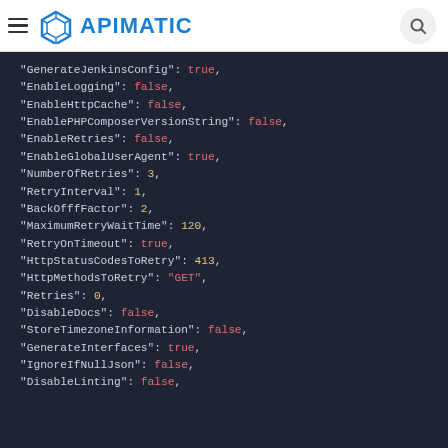APIMATIC
"GenerateJenkinsConfig": true,
"EnableLogging": false,
"EnableHttpCache": false,
"EnablePHPComposerVersionString": false,
"EnableRetries": false,
"EnableGlobalUserAgent": true,
"NumberOfRetries": 3,
"RetryInterval": 1,
"BackOfffFactor": 2,
"MaximumRetryWaitTime": 120,
"RetryOnTimeout": true,
"HttpStatusCodesToRetry": 413,
"HttpMethodsToRetry": "GET",
"Retries": 0,
"DisableDocs": false,
"StoreTimezoneInformation": false,
"GenerateInterfaces": true,
"IgnoreIfNullJson": false,
"DisableLinting": false,